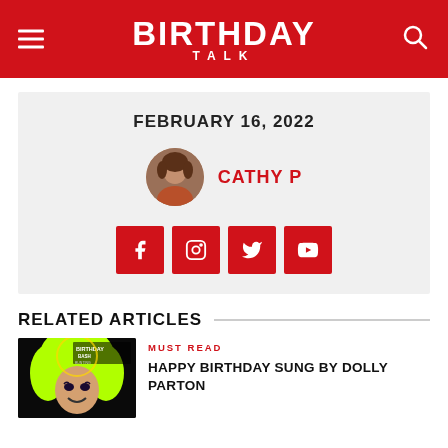BIRTHDAY TALK
FEBRUARY 16, 2022
CATHY P
[Figure (infographic): Social media icons: Facebook, Instagram, Twitter, YouTube — red square buttons with white icons]
RELATED ARTICLES
[Figure (photo): Person with bright yellow-green hair on dark background, Birthday Bash text overlay]
MUST READ
HAPPY BIRTHDAY SUNG BY DOLLY PARTON